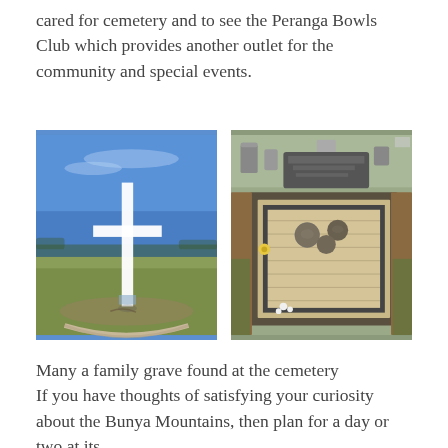cared for cemetery and to see the Peranga Bowls Club which provides another outlet for the community and special events.
[Figure (photo): White cross grave marker on an open grassy field under a blue sky, with a curved concrete border at the base.]
[Figure (photo): A family grave at the cemetery showing a brick-paved grave with stone balls on top, a dark border, and a headstone in the background. Yellow flower visible.]
Many a family grave found at the cemetery
If you have thoughts of satisfying your curiosity about the Bunya Mountains, then plan for a day or two at its